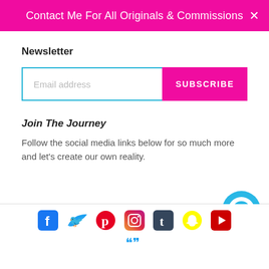Contact Me For All Originals & Commissions
Newsletter
Email address
SUBSCRIBE
Join The Journey
Follow the social media links below for so much more and let's create our own reality.
[Figure (infographic): Social media icons row: Facebook, Twitter, Pinterest, Instagram, Tumblr, Snapchat, YouTube, and a partial row below with two more icons. Chat bubble icon in bottom right corner.]